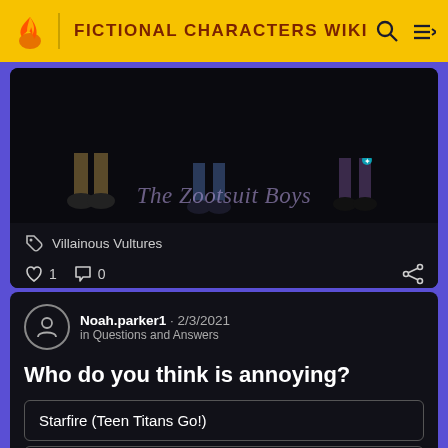FICTIONAL CHARACTERS WIKI
[Figure (screenshot): Dark card showing feet/shoes of characters above the text 'The Zootsuit Boys' with tag 'Villainous Vultures', 1 like, 0 comments]
Villainous Vultures
1   0
Noah.parker1 · 2/3/2021 in Questions and Answers
Who do you think is annoying?
Starfire (Teen Titans Go!)